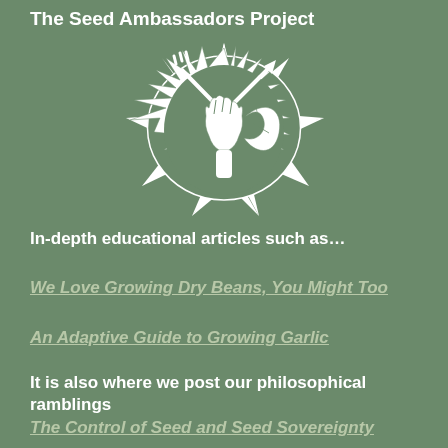The Seed Ambassadors Project
[Figure (logo): Black and white logo of a fist holding garden tools (fork and trowel) surrounded by spiky rays, resembling a sun or starburst design — the Seed Ambassadors Project logo]
In-depth educational articles such as…
We Love Growing Dry Beans, You Might Too
An Adaptive Guide to Growing Garlic
It is also where we post our philosophical ramblings
The Control of Seed and Seed Sovereignty